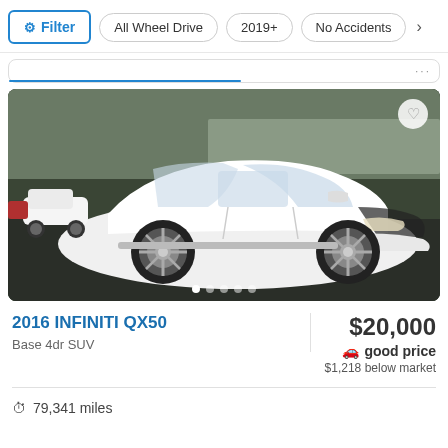Filter | All Wheel Drive | 2019+ | No Accidents
[Figure (screenshot): Partial car listing card above with blue underline and dots]
[Figure (photo): White 2016 INFINITI QX50 SUV parked in a lot, side/front 3/4 view, with carousel dots and heart icon]
2016 INFINITI QX50
Base 4dr SUV
$20,000
good price
$1,218 below market
79,341 miles